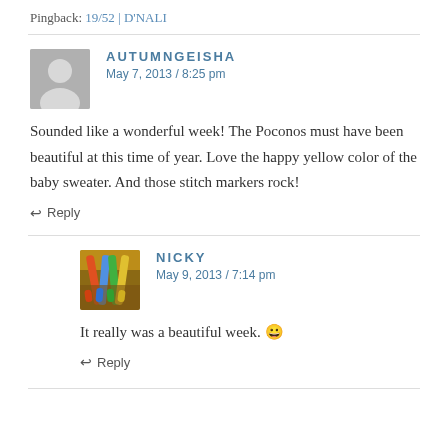Pingback: 19/52 | D'NALI
AUTUMNGEISHA
May 7, 2013 / 8:25 pm
Sounded like a wonderful week! The Poconos must have been beautiful at this time of year. Love the happy yellow color of the baby sweater. And those stitch markers rock!
↩ Reply
NICKY
May 9, 2013 / 7:14 pm
It really was a beautiful week. 😀
↩ Reply